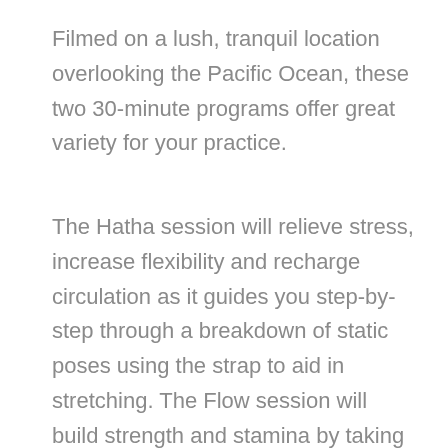Filmed on a lush, tranquil location overlooking the Pacific Ocean, these two 30-minute programs offer great variety for your practice.
The Hatha session will relieve stress, increase flexibility and recharge circulation as it guides you step-by-step through a breakdown of static poses using the strap to aid in stretching. The Flow session will build strength and stamina by taking postures from Ashtanga yoga and sequencing them into a simple, natural flow that aids in weight loss, tones muscle, improves balance and calms mental focus. These two diverse